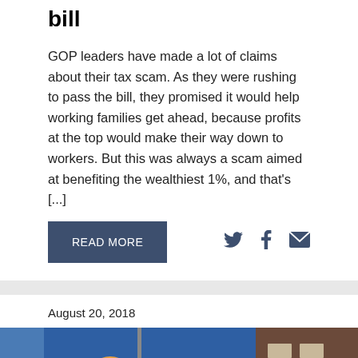bill
GOP leaders have made a lot of claims about their tax scam. As they were rushing to pass the bill, they promised it would help working families get ahead, because profits at the top would make their way down to workers. But this was always a scam aimed at benefiting the wealthiest 1%, and that's [...]
READ MORE
August 20, 2018
[Figure (photo): Outdoor rally photo showing a person in a hard hat and another person partially visible, with an Ohio state flag (red circle on white background, blue triangle) visible on the right. Blue banners/backdrop in the background with a building behind.]